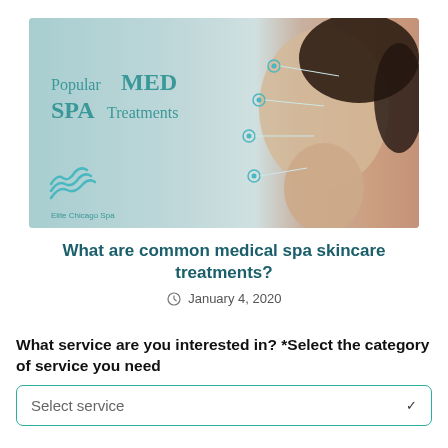[Figure (photo): Banner image for medical spa blog post showing a woman's face in profile with annotation dots and lines pointing to facial areas, teal/gray background. Left side shows text 'Popular MED SPA Treatments' in teal. Bottom left shows Elite Chicago Spa logo with teal wave icon.]
What are common medical spa skincare treatments?
January 4, 2020
What service are you interested in? *Select the category of service you need
Select service